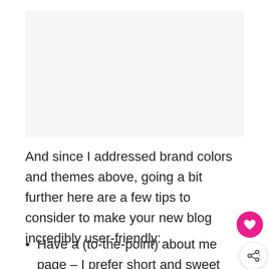[Figure (other): Image placeholder area (light gray rectangle, content not visible)]
And since I addressed brand colors and themes above, going a bit further here are a few tips to consider to make your new blog incredibly user-friendly:
Have a (to-the-point) about me page – I prefer short and sweet and to the point, because the about me page shouldn't be a place where all the info is ALL about